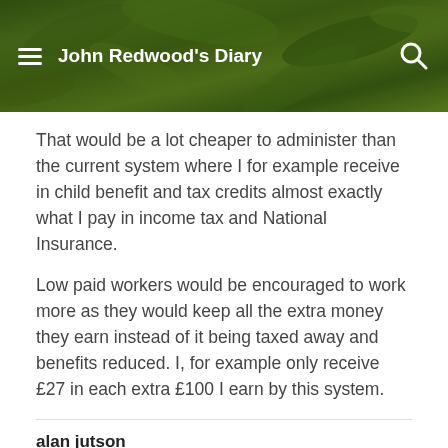John Redwood's Diary
That would be a lot cheaper to administer than the current system where I for example receive in child benefit and tax credits almost exactly what I pay in income tax and National Insurance.
Low paid workers would be encouraged to work more as they would keep all the extra money they earn instead of it being taxed away and benefits reduced. I, for example only receive £27 in each extra £100 I earn by this system.
alan jutson
April 8, 2013